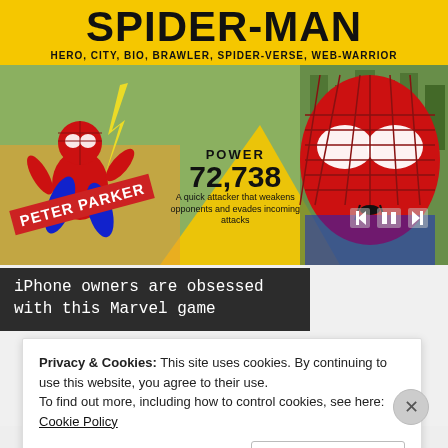SPIDER-MAN
HERO, CITY, BIO, BRAWLER, SPIDER-VERSE, WEB-WARRIOR
[Figure (screenshot): Spider-Man Marvel game card showing Peter Parker character on left in classic red/blue suit, close-up of movie Spider-Man face on right, yellow background with power stat 72,738 and description 'A quick attacker that weakens opponents and evades incoming attacks', Peter Parker label in red, media control buttons (skip back, pause, skip forward)]
iPhone owners are obsessed with this Marvel game
Privacy & Cookies: This site uses cookies. By continuing to use this website, you agree to their use.
To find out more, including how to control cookies, see here: Cookie Policy
Close and accept